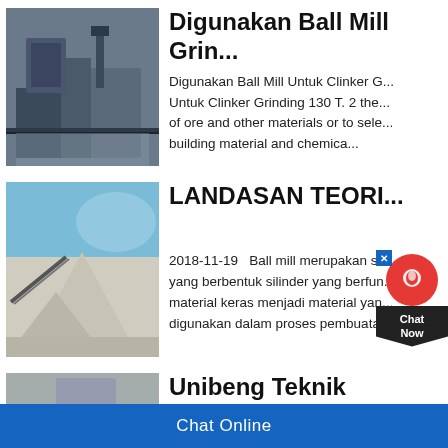[Figure (photo): Industrial ball mill / crusher equipment photo]
Digunakan Ball Mill Grin...
Digunakan Ball Mill Untuk Clinker G... Untuk Clinker Grinding 130 T. 2 the... of ore and other materials or to sele... building material and chemica...
[Figure (photo): Quarry pile of crushed stone / aggregate]
LANDASAN TEORI...
2018-11-19   Ball mill merupakan s... yang berbentuk silinder yang berfun... material keras menjadi material yan... digunakan dalam proses pembuata...
[Figure (photo): Sand/aggregate processing site photo]
Unibeng Teknik Manung...
Snecifikasi Ball Mill Mesin Ball Mill...